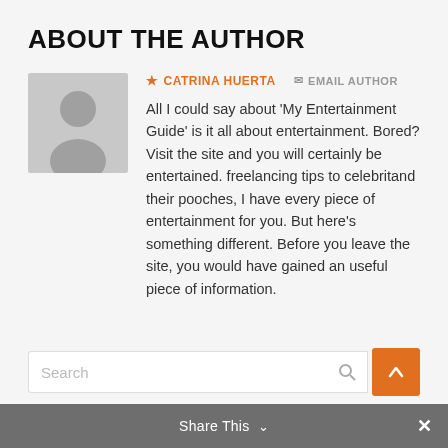ABOUT THE AUTHOR
CATRINA HUERTA   EMAIL AUTHOR
All I could say about 'My Entertainment Guide' is it all about entertainment. Bored? Visit the site and you will certainly be entertained. freelancing tips to celebritand their pooches, I have every piece of entertainment for you. But here's something different. Before you leave the site, you would have gained an useful piece of information.
Share This  ×